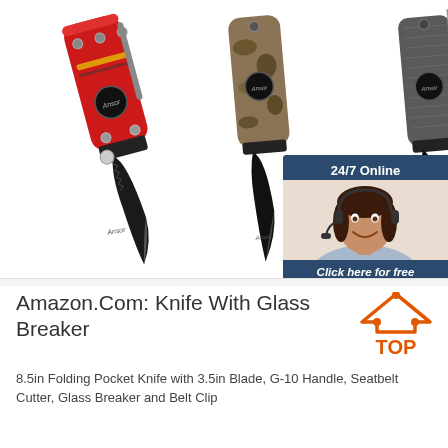[Figure (photo): Three folding pocket knives displayed side by side: one with a red handle, one with a camouflage/tan handle, and one with a gray textured handle. All have black blades. A customer service chat widget appears in the top right showing a smiling female agent with a headset, text '24/7 Online', 'Click here for free chat!', and an orange 'QUOTATION' button.]
Amazon.Com: Knife With Glass Breaker
8.5in Folding Pocket Knife with 3.5in Blade, G-10 Handle, Seatbelt Cutter, Glass Breaker and Belt Clip